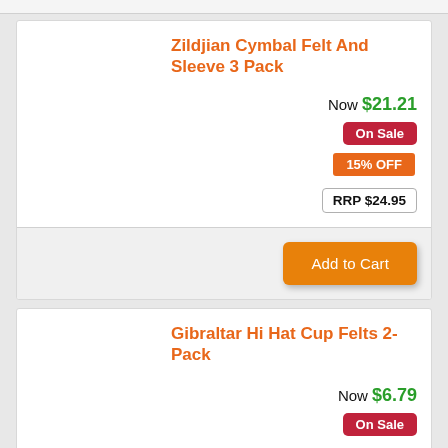Zildjian Cymbal Felt And Sleeve 3 Pack
Now $21.21
On Sale
15% OFF
RRP $24.95
Add to Cart
Gibraltar Hi Hat Cup Felts 2-Pack
Now $6.79
On Sale